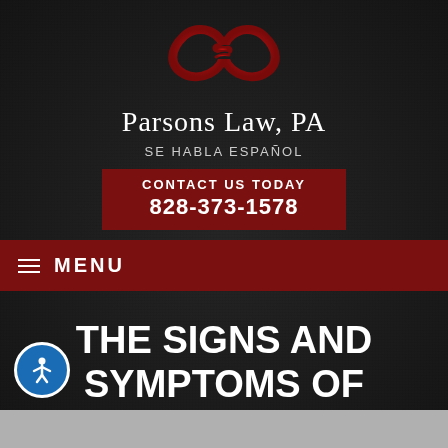[Figure (logo): Parsons Law PA infinity knot logo in dark red/crimson on dark background]
Parsons Law, PA
SE HABLA ESPAÑOL
CONTACT US TODAY
828-373-1578
≡ MENU
THE SIGNS AND SYMPTOMS OF PARENTAL ALIENATION SYNDROME